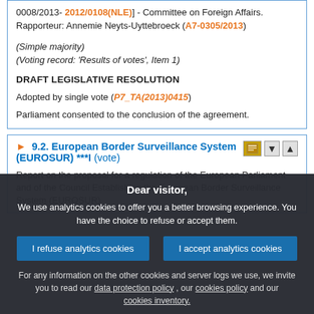0008/2013- 2012/0108(NLE)] - Committee on Foreign Affairs. Rapporteur: Annemie Neyts-Uyttebroeck (A7-0305/2013)
(Simple majority)
(Voting record: 'Results of votes', Item 1)
DRAFT LEGISLATIVE RESOLUTION
Adopted by single vote (P7_TA(2013)0415)
Parliament consented to the conclusion of the agreement.
9.2. European Border Surveillance System (EUROSUR) ***I (vote)
Report on the proposal for a regulation of the European Parliament and of the Council Establishing the European Border Surveillance System (EUROSUR)
Dear visitor,
We use analytics cookies to offer you a better browsing experience. You have the choice to refuse or accept them.
For any information on the other cookies and server logs we use, we invite you to read our data protection policy , our cookies policy and our cookies inventory.